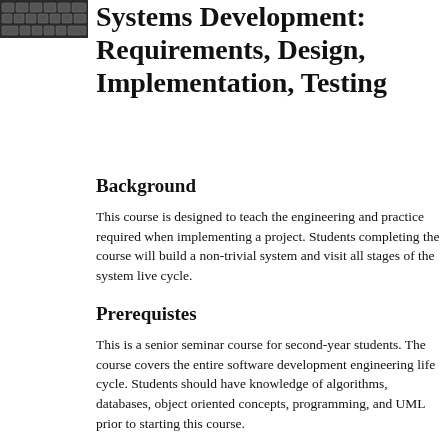[Figure (photo): Small photograph of keyboard keys in top-left corner]
Systems Development: Requirements, Design, Implementation, Testing
Background
This course is designed to teach the engineering and practice required when implementing a project. Students completing the course will build a non-trivial system and visit all stages of the system live cycle.
Prerequistes
This is a senior seminar course for second-year students. The course covers the entire software development engineering life cycle. Students should have knowledge of algorithms, databases, object oriented concepts, programming, and UML prior to starting this course.
Objectives
Students who complete the course will do...